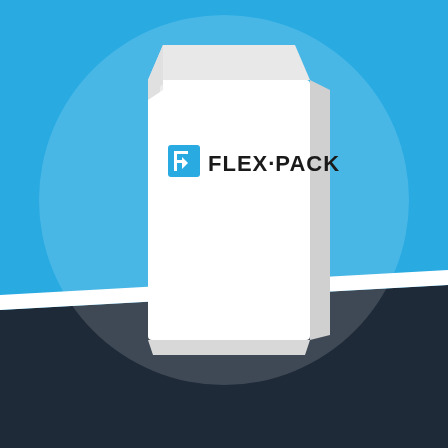[Figure (illustration): Flex-Pack branded product packaging mockup: a white flat-bottom bag/pouch with the Flex-Pack logo (blue F icon + bold black FLEX-PACK text) displayed against a bright blue background with a large translucent white circle, and a dark navy diagonal section at the bottom.]